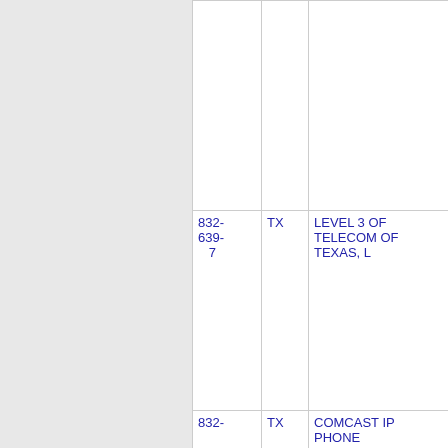| Phone | State | Carrier | Code |
| --- | --- | --- | --- |
| 832-639-7 | TX | LEVEL 3 OF TELECOM OF TEXAS, L | 7 |
| 832- | TX | COMCAST IP PHONE | 8 |